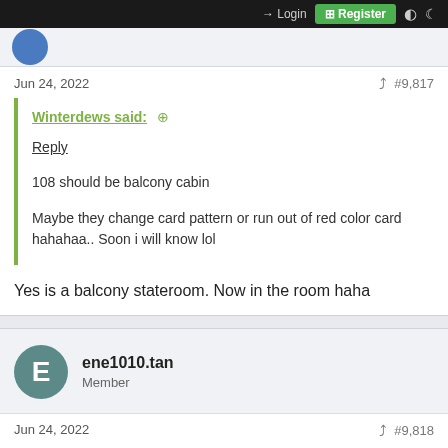Login  Register
Jun 24, 2022  #9,817
Winterdews said: ⊕

Reply

108 should be balcony cabin

Maybe they change card pattern or run out of red color card hahahaa.. Soon i will know lol
Yes is a balcony stateroom. Now in the room haha
ene1010.tan
Member
Jun 24, 2022  #9,818